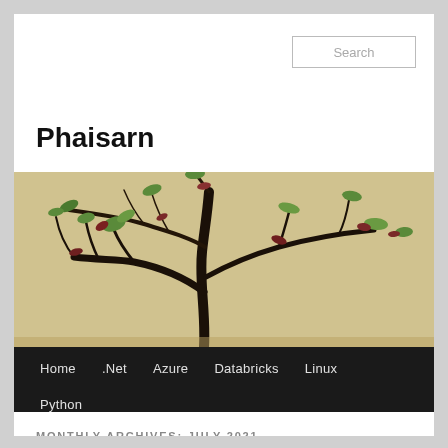Search
Phaisarn
[Figure (photo): Bonsai tree with dark twisted branches and small green and reddish leaves against a warm beige/tan background.]
Home  .Net  Azure  Databricks  Linux  Python
MONTHLY ARCHIVES: JULY 2021